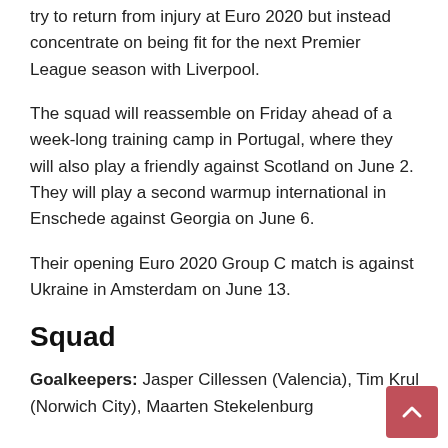try to return from injury at Euro 2020 but instead concentrate on being fit for the next Premier League season with Liverpool.
The squad will reassemble on Friday ahead of a week-long training camp in Portugal, where they will also play a friendly against Scotland on June 2. They will play a second warmup international in Enschede against Georgia on June 6.
Their opening Euro 2020 Group C match is against Ukraine in Amsterdam on June 13.
Squad
Goalkeepers: Jasper Cillessen (Valencia), Tim Krul (Norwich City), Maarten Stekelenburg